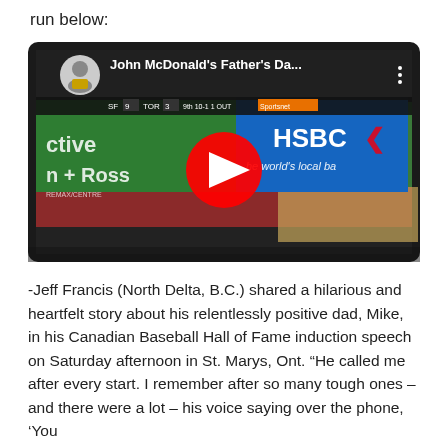run below:
[Figure (screenshot): YouTube video thumbnail showing a baseball game on a TV/tablet screen. The video title reads "John McDonald's Father's Da..." with a YouTube avatar in the upper left, a red YouTube play button in the center, and HSBC branding visible on the right side of the screen.]
-Jeff Francis (North Delta, B.C.) shared a hilarious and heartfelt story about his relentlessly positive dad, Mike, in his Canadian Baseball Hall of Fame induction speech on Saturday afternoon in St. Marys, Ont. “He called me after every start. I remember after so many tough ones – and there were a lot – his voice saying over the phone, ‘You